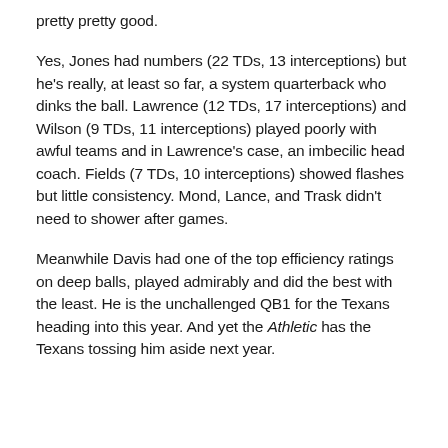pretty pretty good.
Yes, Jones had numbers (22 TDs, 13 interceptions) but he's really, at least so far, a system quarterback who dinks the ball. Lawrence (12 TDs, 17 interceptions) and Wilson (9 TDs, 11 interceptions) played poorly with awful teams and in Lawrence's case, an imbecilic head coach. Fields (7 TDs, 10 interceptions) showed flashes but little consistency. Mond, Lance, and Trask didn't need to shower after games.
Meanwhile Davis had one of the top efficiency ratings on deep balls, played admirably and did the best with the least. He is the unchallenged QB1 for the Texans heading into this year. And yet the Athletic has the Texans tossing him aside next year.